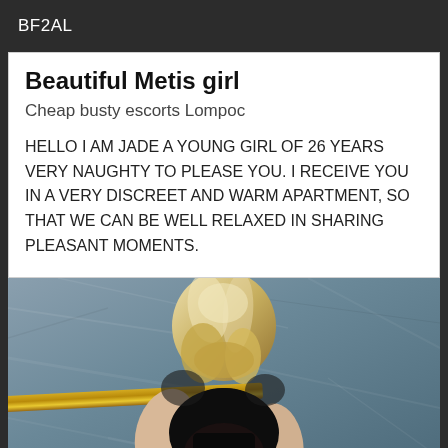BF2AL
Beautiful Metis girl
Cheap busty escorts Lompoc
HELLO I AM JADE A YOUNG GIRL OF 26 YEARS VERY NAUGHTY TO PLEASE YOU. I RECEIVE YOU IN A VERY DISCREET AND WARM APARTMENT, SO THAT WE CAN BE WELL RELAXED IN SHARING PLEASANT MOMENTS.
[Figure (photo): Blonde woman seen from behind, wearing black lace clothing, leaning on a gold rail against a blue-grey marbled wall background.]